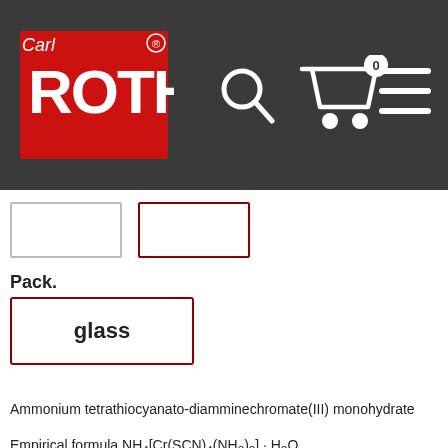[Figure (logo): Carl Roth logo with red square and white ROTH text, navigation bar with search, cart (0 items), and menu icons]
Pack.
glass
Ammonium tetrathiocyanato-diamminechromate(III) monohydrate
Empirical formula NH4[Cr(SCN)4(NH3)2] · H2O
Molar mass (M) 354,45 g/mol
Melting point (mp) 272 °C
WGK 1
CAS No. [13573-17-6]
EG-Nr. 237-003-3